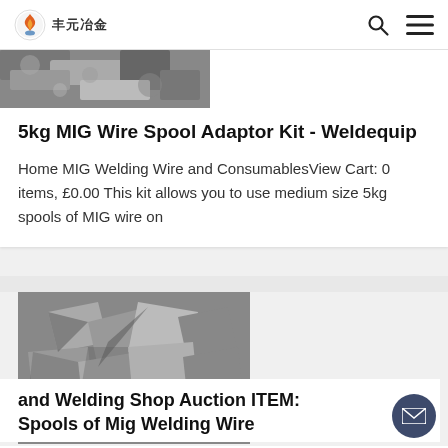丰元冶金
[Figure (photo): Partial cropped photo of metal/welding materials at top of first card]
5kg MIG Wire Spool Adaptor Kit - Weldequip
Home MIG Welding Wire and ConsumablesView Cart: 0 items, £0.00 This kit allows you to use medium size 5kg spools of MIG wire on
[Figure (photo): Black and white photo of metallic chunks/pieces, likely ferroalloy or metal fragments]
and Welding Shop Auction ITEM: Spools of Mig Welding Wire